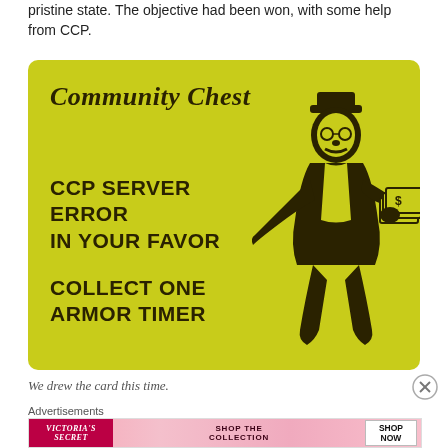pristine state. The objective had been won, with some help from CCP.
[Figure (illustration): A parody Monopoly Community Chest card with yellow-green background. Title reads 'Community Chest' in cursive script. Card text reads 'CCP SERVER ERROR IN YOUR FAVOR COLLECT ONE ARMOR TIMER'. Features a cartoon Monopoly man figure receiving money on the right side.]
We drew the card this time.
Advertisements
[Figure (photo): Victoria's Secret advertisement banner showing a woman and text 'SHOP THE COLLECTION' with 'SHOP NOW' button.]